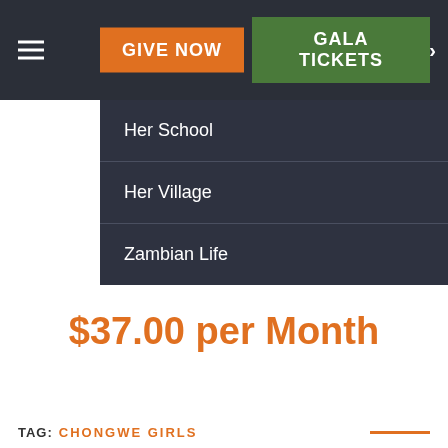GIVE NOW | GALA TICKETS
Her School
Her Village
Zambian Life
$37.00 per Month
TAG: CHONGWE GIRLS